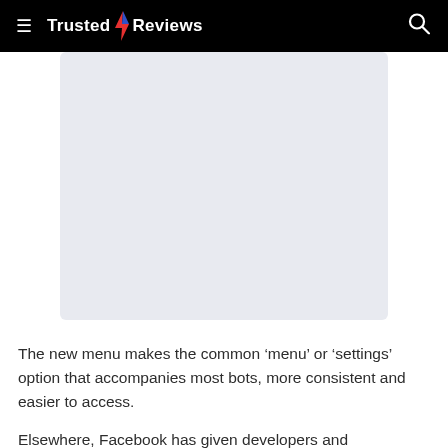Trusted Reviews
[Figure (screenshot): A light blue-grey rectangular placeholder image area]
The new menu makes the common ‘menu’ or ‘settings’ option that accompanies most bots, more consistent and easier to access.
Elsewhere, Facebook has given developers and